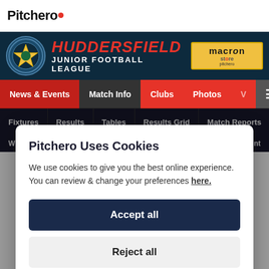Pitchero
[Figure (screenshot): Huddersfield Junior Football League banner with crest, league name in red italic text, and Macron Store badge]
News & Events | Match Info | Clubs | Photos | V | ☰
Fixtures | Results | Tables | Results Grid | Match Reports
Pitchero Uses Cookies
We use cookies to give you the best online experience. You can review & change your preferences here.
Accept all
Reject all